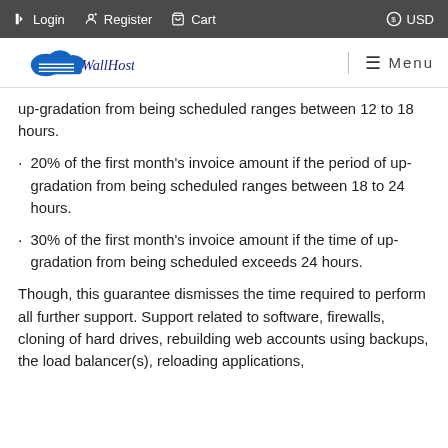Login  Register  Cart  USD
[Figure (logo): WallHost cloud logo with text]
20% of the first month's invoice amount if the period of up-gradation from being scheduled ranges between 18 to 24 hours.
30% of the first month's invoice amount if the time of up-gradation from being scheduled exceeds 24 hours.
Though, this guarantee dismisses the time required to perform all further support. Support related to software, firewalls, cloning of hard drives, rebuilding web accounts using backups, the load balancer(s), reloading applications,